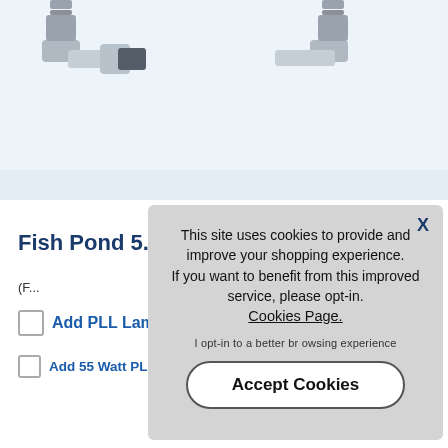[Figure (photo): Product photo showing UV pond filter connectors/fittings on a light blue background, with two grey threaded fittings visible on left and one on the right.]
Fish Pond 5...
(F...
Add PLL Lam...
Add 55 Watt PLL UV Replacement Light
This site uses cookies to provide and improve your shopping experience. If you want to benefit from this improved service, please opt-in. Cookies Page. I opt-in to a better browsing experience
Accept Cookies